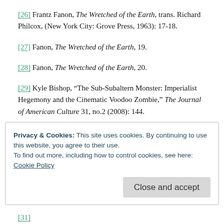[26] Frantz Fanon, The Wretched of the Earth, trans. Richard Philcox, (New York City: Grove Press, 1963): 17-18.
[27] Fanon, The Wretched of the Earth, 19.
[28] Fanon, The Wretched of the Earth, 20.
[29] Kyle Bishop, “The Sub-Subaltern Monster: Imperialist Hegemony and the Cinematic Voodoo Zombie,” The Journal of American Culture 31, no.2 (2008): 144.
[30] Ibid.
Privacy & Cookies: This site uses cookies. By continuing to use this website, you agree to their use.
To find out more, including how to control cookies, see here: Cookie Policy
[31] (partial, cut off at bottom)